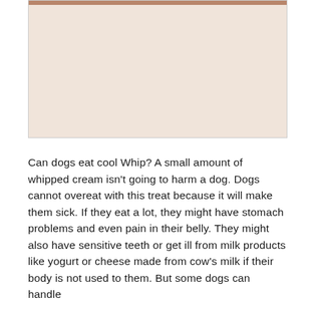[Figure (photo): Partial photo of a dog, mostly cropped, showing a light pinkish/tan background with a strip of brown/tan color at the top edge suggesting the dog's fur or face cropped at the top.]
Can dogs eat cool Whip? A small amount of whipped cream isn't going to harm a dog. Dogs cannot overeat with this treat because it will make them sick. If they eat a lot, they might have stomach problems and even pain in their belly. They might also have sensitive teeth or get ill from milk products like yogurt or cheese made from cow's milk if their body is not used to them. But some dogs can handle